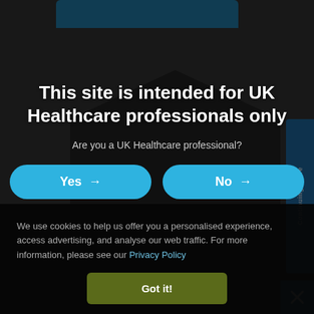[Figure (screenshot): Dark website background with a house/building silhouette shape and a blue rounded rectangle at top, partially visible]
This site is intended for UK Healthcare professionals only
Are you a UK Healthcare professional?
[Figure (other): Two cyan/blue rounded pill buttons: 'Yes →' and 'No →']
We use cookies to help us offer you a personalised experience, access advertising, and analyse our web traffic. For more information, please see our Privacy Policy
Got it!